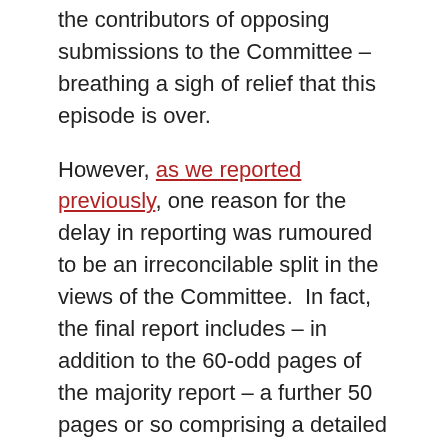the contributors of opposing submissions to the Committee – breathing a sigh of relief that this episode is over.
However, as we reported previously, one reason for the delay in reporting was rumoured to be an irreconcilable split in the views of the Committee.  In fact, the final report includes – in addition to the 60-odd pages of the majority report – a further 50 pages or so comprising a detailed dissenting report by Senators Heffernan, Xenophon and Siewert.  This comes as no surprise to Patentology, since we previously predicted that these three Committee members were most likely immovable in their desire